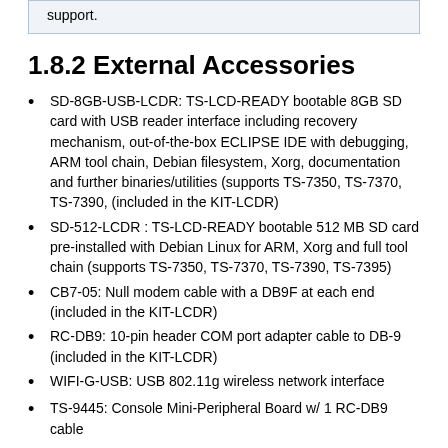support.
1.8.2 External Accessories
SD-8GB-USB-LCDR: TS-LCD-READY bootable 8GB SD card with USB reader interface including recovery mechanism, out-of-the-box ECLIPSE IDE with debugging, ARM tool chain, Debian filesystem, Xorg, documentation and further binaries/utilities (supports TS-7350, TS-7370, TS-7390, (included in the KIT-LCDR)
SD-512-LCDR : TS-LCD-READY bootable 512 MB SD card pre-installed with Debian Linux for ARM, Xorg and full tool chain (supports TS-7350, TS-7370, TS-7390, TS-7395)
CB7-05: Null modem cable with a DB9F at each end (included in the KIT-LCDR)
RC-DB9: 10-pin header COM port adapter cable to DB-9 (included in the KIT-LCDR)
WIFI-G-USB: USB 802.11g wireless network interface
TS-9445: Console Mini-Peripheral Board w/ 1 RC-DB9 cable